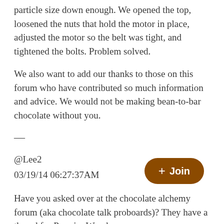particle size down enough. We opened the top, loosened the nuts that hold the motor in place, adjusted the motor so the belt was tight, and tightened the bolts. Problem solved.
We also want to add our thanks to those on this forum who have contributed so much information and advice. We would not be making bean-to-bar chocolate without you.
—
@Lee2
03/19/14 06:27:37AM
Have you asked over at the chocolate alchemy forum (aka chocolate talk proboards)? They have a thread for Premier Wonder owners.
—